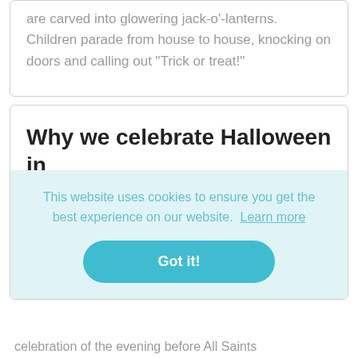are carved into glowering jack-o'-lanterns. Children parade from house to house, knocking on doors and calling out "Trick or treat!"
Why we celebrate Halloween in America?
This website uses cookies to ensure you get the best experience on our website. Learn more
Got it!
celebration of the evening before All Saints